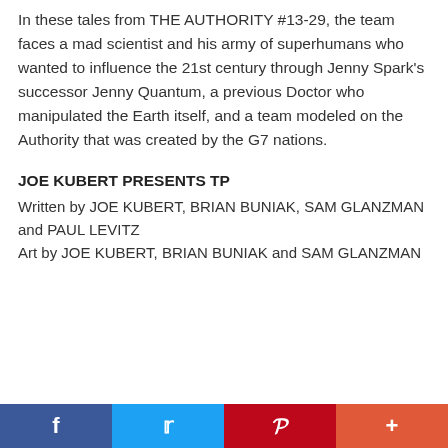In these tales from THE AUTHORITY #13-29, the team faces a mad scientist and his army of superhumans who wanted to influence the 21st century through Jenny Spark's successor Jenny Quantum, a previous Doctor who manipulated the Earth itself, and a team modeled on the Authority that was created by the G7 nations.
JOE KUBERT PRESENTS TP
Written by JOE KUBERT, BRIAN BUNIAK, SAM GLANZMAN and PAUL LEVITZ
Art by JOE KUBERT, BRIAN BUNIAK and SAM GLANZMAN
[Figure (other): Social sharing bar with Facebook, Twitter, Pinterest, and More (+) buttons]